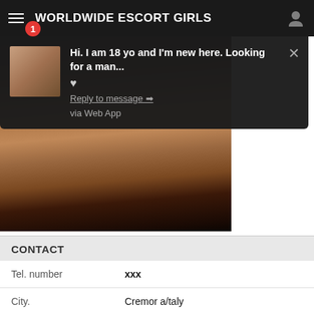WORLDWIDE ESCORT GIRLS
[Figure (screenshot): Popup notification overlay showing a message: Hi. I am 18 yo and I'm new here. Looking for a man... with a heart icon, Reply to message link, and via Web App text. A thumbnail photo and close X button are also shown.]
[Figure (photo): Blurred/obscured photo of a person in a dark room setting]
CONTACT
| Tel. number | xxx |
| City. | Cremor a/taly |
| Last seen: | Today in 04:51 |